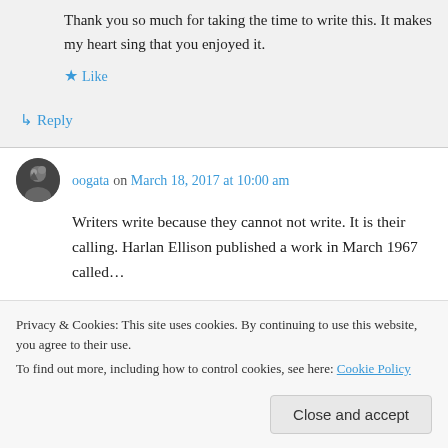Thank you so much for taking the time to write this. It makes my heart sing that you enjoyed it.
★ Like
↳ Reply
oogata on March 18, 2017 at 10:00 am
Writers write because they cannot not write. It is their calling. Harlan Ellison published a work in March 1967 called "Have No Mouth, and I Must..."
Privacy & Cookies: This site uses cookies. By continuing to use this website, you agree to their use.
To find out more, including how to control cookies, see here: Cookie Policy
Close and accept